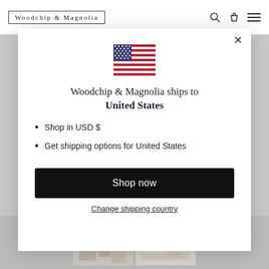Woodchip & Magnolia
[Figure (screenshot): US flag emoji/icon displayed in the modal dialog]
Woodchip & Magnolia ships to United States
Shop in USD $
Get shipping options for United States
Shop now
Change shipping country